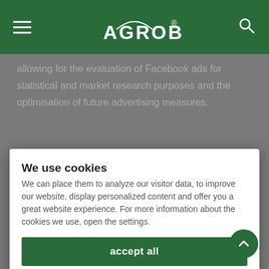AGROBS
allowing for the evaluation of Facebook ads for statistical and market research purposes and the optimisation of future advertising measures.
We use cookies
We can place them to analyze our visitor data, to improve our website, display personalized content and offer you a great website experience. For more information about the cookies we use, open the settings.
accept all
decline
more information
Privacy   Imprint
control over this use of the data.
The use of Facebook Pixel is carried out on the basis of Art. (1) (f) GDPR. The website operator has a legitimate interest in